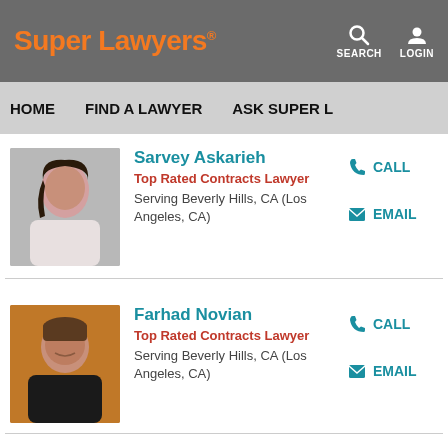Super Lawyers® — SEARCH LOGIN
HOME   FIND A LAWYER   ASK SUPER L...
Sarvey Askarieh
Top Rated Contracts Lawyer
Serving Beverly Hills, CA (Los Angeles, CA)
CALL
EMAIL
Farhad Novian
Top Rated Contracts Lawyer
Serving Beverly Hills, CA (Los Angeles, CA)
CALL
EMAIL